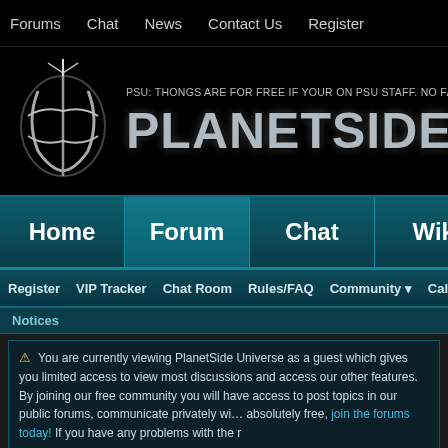Forums   Chat   News   Contact Us   Register
[Figure (screenshot): PlanetSide Universe website banner with logo and site name]
PSU: THONGS ARE FOR FREE IF YOUR ON PSU STAFF. NO FAIR :(
PLANETSIDE UNIVE
Home   Forum   Chat   Wiki   Soci
Register   VIP Tracker   Chat Room   Rules/FAQ   Community ▼   Calendar   To
Notices
⚠ You are currently viewing PlanetSide Universe as a guest which gives you limited access to view most discussions and access our other features. By joining our free community you will have access to post topics in our public forums, communicate privately with other members (PM), respond to polls, upload content and access many other special features. Registration is absolutely free, join the forums today! If you have any problems with the r
PlanetSide Universe > Social Groups
Outfits